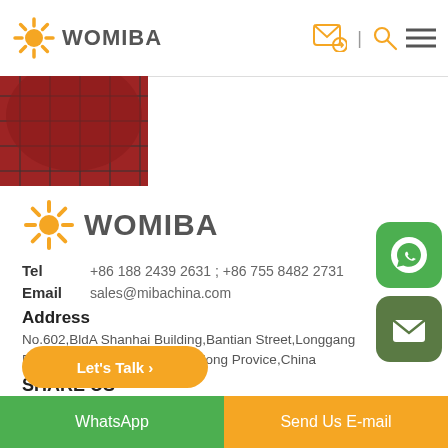WOMIBA
[Figure (photo): Cropped product photo showing a dark red/plaid cap or hat]
[Figure (logo): WOMIBA logo with orange sunburst icon and grey WOMIBA text]
Tel   +86 188 2439 2631 ; +86 755 8482 2731
Email   sales@mibachina.com
Address
No.602,BldA Shanhai Building,Bantian Street,Longgang District,Shenzhen City,Guangdong Provice,China
SHARE US
[Figure (infographic): Social media icons: LinkedIn (blue), YouTube (red), Twitter (blue), Facebook (blue)]
[Figure (other): WhatsApp green rounded square button with phone icon]
[Figure (other): Email dark green rounded square button with envelope icon]
Let's Talk →
WhatsApp | Send Us E-mail